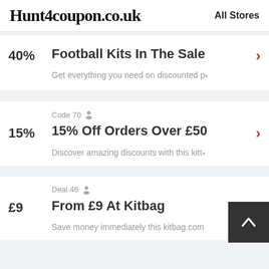Hunt4coupon.co.uk | All Stores
40%
Football Kits In The Sale
Get everything you need on discounted p
Code 70
15%
15% Off Orders Over £50
Discover amazing discounts with this kitt
Deal 46
£9
From £9 At Kitbag
Save money immediately this kitbag.com